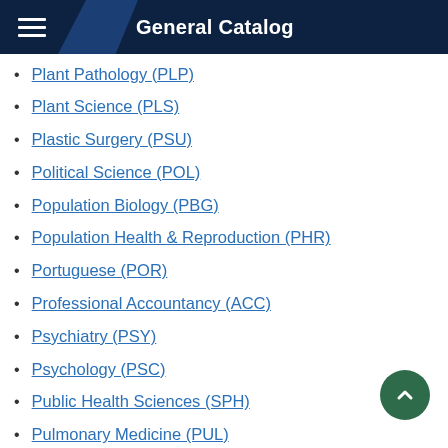General Catalog
Plant Pathology (PLP)
Plant Science (PLS)
Plastic Surgery (PSU)
Political Science (POL)
Population Biology (PBG)
Population Health & Reproduction (PHR)
Portuguese (POR)
Professional Accountancy (ACC)
Psychiatry (PSY)
Psychology (PSC)
Public Health Sciences (SPH)
Pulmonary Medicine (PUL)
Punjabi (PUN)